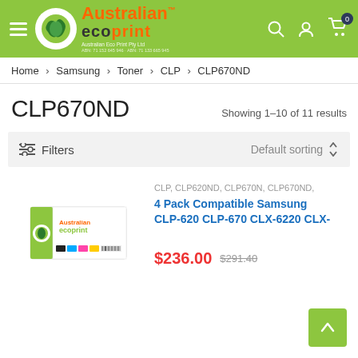[Figure (logo): Australian Ecoprint logo with green globe and orange/dark text on green header bar]
Home › Samsung › Toner › CLP › CLP670ND
CLP670ND
Showing 1–10 of 11 results
Filters   Default sorting
[Figure (photo): Product box image: 4 Pack Compatible Samsung toner cartridges with green branding]
CLP, CLP620ND, CLP670N, CLP670ND,
4 Pack Compatible Samsung CLP-620 CLP-670 CLX-6220 CLX-
$236.00 $291.40